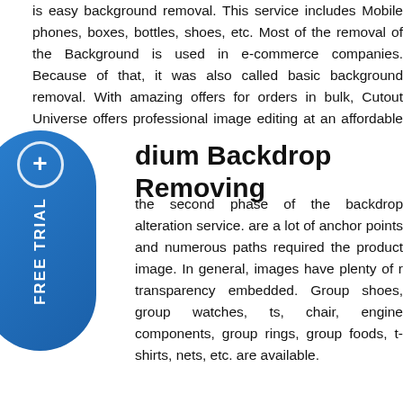is easy background removal. This service includes Mobile phones, boxes, bottles, shoes, etc. Most of the removal of the Background is used in e-commerce companies. Because of that, it was also called basic background removal. With amazing offers for orders in bulk, Cutout Universe offers professional image editing at an affordable price.
dium Backdrop Removing
the second phase of the backdrop alteration service. are a lot of anchor points and numerous paths required the product image. In general, images have plenty of r transparency embedded. Group shoes, group watches, ts, chair, engine components, group rings, group foods, t-shirts, nets, etc. are available.
[Figure (other): Blue pill-shaped FREE TRIAL badge with a plus icon circle at top and vertical text reading FREE TRIAL]